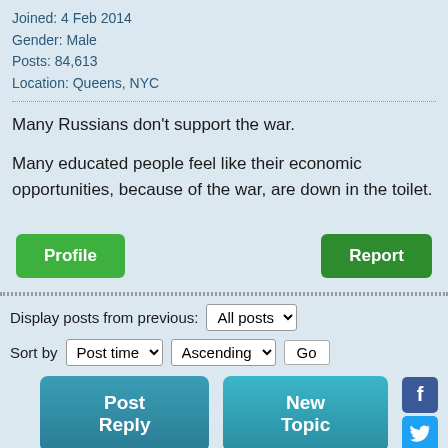Joined: 4 Feb 2014
Gender: Male
Posts: 84,613
Location: Queens, NYC
Many Russians don't support the war.

Many educated people feel like their economic opportunities, because of the war, are down in the toilet.
Display posts from previous: All posts
Sort by Post time Ascending Go
Page 1 of 1 [ 11 posts ]